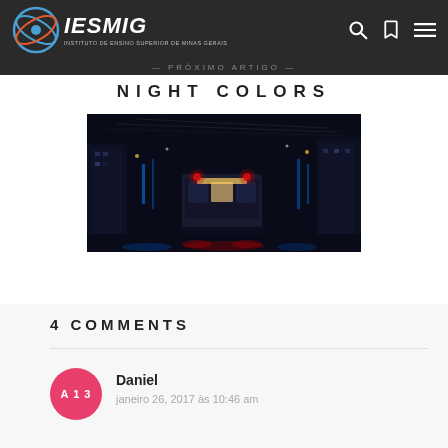IESMIG — Instituto de Ensino Superior de Minas Gerais
— PRÓXIMO ARTIGO —
NIGHT COLORS
[Figure (photo): Night city street photo with a tram/streetcar in the rain, colorful neon reflections on wet pavement, blue and red lights]
4 COMMENTS
Daniel
janeiro 26, 2017 às 10:46 am